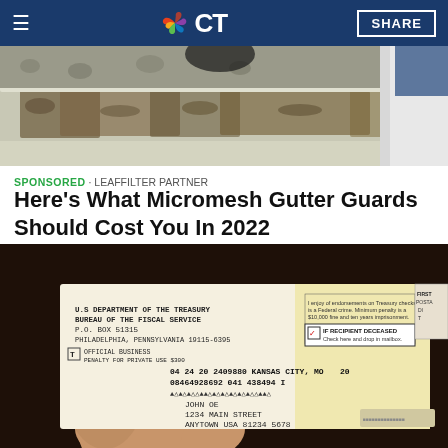NBC CT — SHARE
[Figure (photo): Close-up photo of a clogged house gutter filled with debris and dirt, with a white door frame visible on the right side.]
SPONSORED · LEAFFILTER PARTNER
Here's What Micromesh Gutter Guards Should Cost You In 2022
[Figure (photo): A hand holding a US Treasury / Bureau of the Fiscal Service check envelope showing: U.S. DEPARTMENT OF THE TREASURY, BUREAU OF THE FISCAL SERVICE, P.O. BOX 51315, PHILADELPHIA, PENNSYLVANIA 19115-6395, OFFICIAL BUSINESS, PENALTY FOR PRIVATE USE $300, addressed to JOHN OE, 1234 MAIN STREET, ANYTOWN USA 81234 5678, with check numbers 04 24 20 2409880 KANSAS CITY, MO and 08464928692 041 438494 I, with a notice IF RECIPIENT DECEASED Check here and drop in mailbox.]